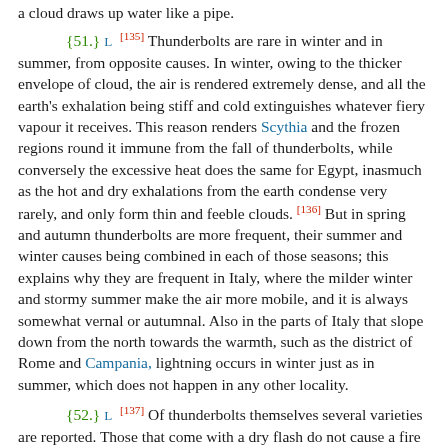a cloud draws up water like a pipe.
{51.} L [135] Thunderbolts are rare in winter and in summer, from opposite causes. In winter, owing to the thicker envelope of cloud, the air is rendered extremely dense, and all the earth's exhalation being stiff and cold extinguishes whatever fiery vapour it receives. This reason renders Scythia and the frozen regions round it immune from the fall of thunderbolts, while conversely the excessive heat does the same for Egypt, inasmuch as the hot and dry exhalations from the earth condense very rarely, and only form thin and feeble clouds. [136] But in spring and autumn thunderbolts are more frequent, their summer and winter causes being combined in each of those seasons; this explains why they are frequent in Italy, where the milder winter and stormy summer make the air more mobile, and it is always somewhat vernal or autumnal. Also in the parts of Italy that slope down from the north towards the warmth, such as the district of Rome and Campania, lightning occurs in winter just as in summer, which does not happen in any other locality.
{52.} L [137] Of thunderbolts themselves several varieties are reported. Those that come with a dry flash do not cause a fire but an explosion. The smoky ones do not cause a fire but an explosion.